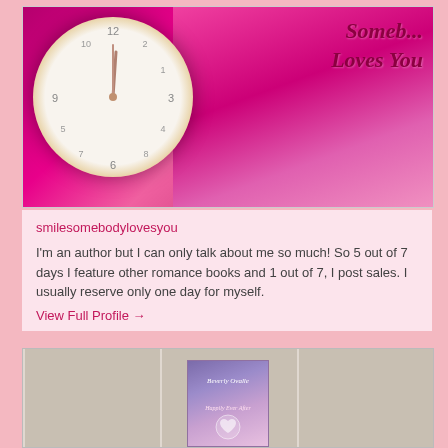[Figure (photo): A pink-themed photo with an alarm clock on the left showing nearly midnight/noon, and bright pink background with 'Somebody Loves You' text in cursive on the right side]
smilesomebodylovesyou
I'm an author but I can only talk about me so much! So 5 out of 7 days I feature other romance books and 1 out of 7, I post sales. I usually reserve only one day for myself.
View Full Profile →
[Figure (photo): A book by Beverly Ovalle titled 'Happily Ever After' standing against a white wood plank background, with a purple/pink gradient cover showing a heart design]